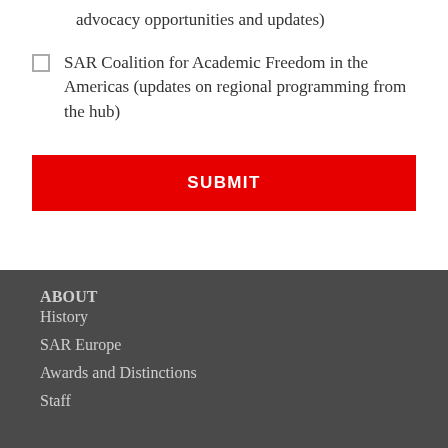advocacy opportunities and updates)
SAR Coalition for Academic Freedom in the Americas (updates on regional programming from the hub)
SUBMIT
ABOUT
History
SAR Europe
Awards and Distinctions
Staff